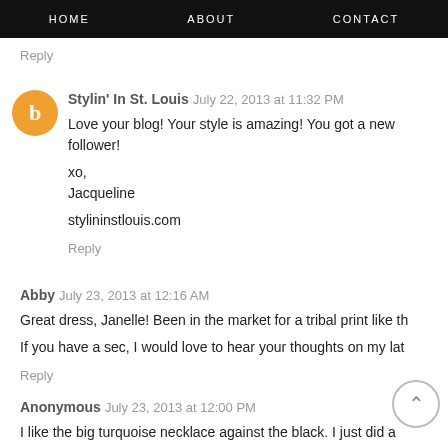HOME   ABOUT   CONTACT
Reply
Stylin' In St. Louis  July 22, 2013 at 11:32 PM
Love your blog! Your style is amazing! You got a new follower!

xo,
Jacqueline

stylininstlouis.com
Reply
Abby  July 23, 2013 at 12:16 AM
Great dress, Janelle! Been in the market for a tribal print like th

If you have a sec, I would love to hear your thoughts on my lat
Reply
Anonymous  July 23, 2013 at 12:00 PM
I like the big turquoise necklace against the black. I just did a